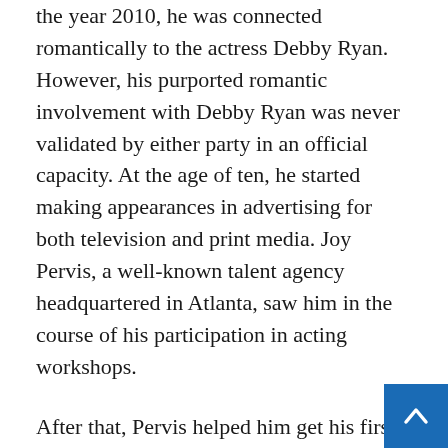the year 2010, he was connected romantically to the actress Debby Ryan. However, his purported romantic involvement with Debby Ryan was never validated by either party in an official capacity. At the age of ten, he started making appearances in advertising for both television and print media. Joy Pervis, a well-known talent agency headquartered in Atlanta, saw him in the course of his participation in acting workshops.
After that, Pervis helped him get his first job in the entertainment industry as a kid model and actress. In the short film “The Lovesong of Edward J. Robble,” which was released in 20[…] he portrayed the role of Michael. In the same